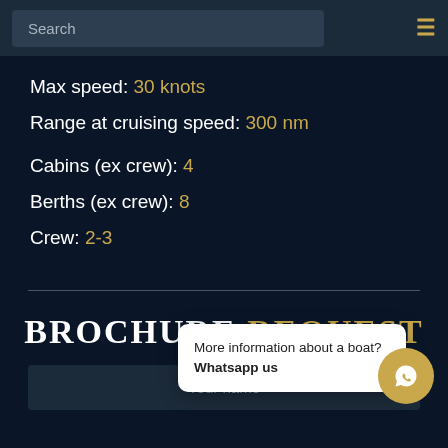Search
Max speed: 30 knots
Range at cruising speed: 300 nm
Cabins (ex crew): 4
Berths (ex crew): 8
Crew: 2-3
BROCHURE REQUEST
Your name
More information about a boat? Whatsapp us